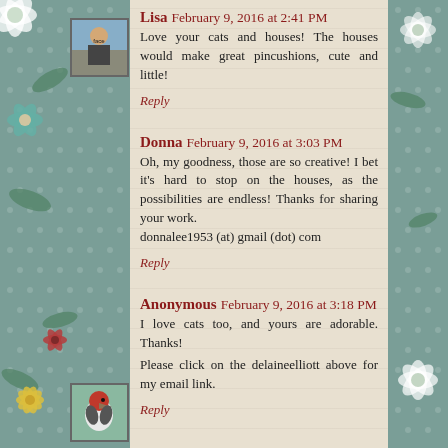Lisa  February 9, 2016 at 2:41 PM
Love your cats and houses! The houses would make great pincushions, cute and little!
Reply
Donna  February 9, 2016 at 3:03 PM
Oh, my goodness, those are so creative! I bet it's hard to stop on the houses, as the possibilities are endless! Thanks for sharing your work.
donnalee1953 (at) gmail (dot) com
Reply
Anonymous  February 9, 2016 at 3:18 PM
I love cats too, and yours are adorable. Thanks!
Please click on the delaineelliott above for my email link.
Reply